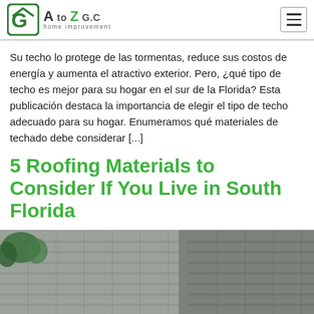[Figure (logo): A to Z G.C home improvement logo with a house icon]
Su techo lo protege de las tormentas, reduce sus costos de energía y aumenta el atractivo exterior. Pero, ¿qué tipo de techo es mejor para su hogar en el sur de la Florida? Esta publicación destaca la importancia de elegir el tipo de techo adecuado para su hogar. Enumeramos qué materiales de techado debe considerar [...]
5 Roofing Materials to Consider If You Live in South Florida
[Figure (photo): Photo of a roof with grey shingles, showing two sections of roofing tile on a house in South Florida with green trees in background]